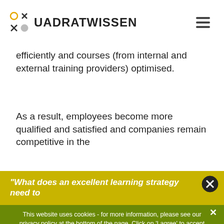QUADRATWISSEN
efficiently and courses (from internal and external training providers) optimised.
As a result, employees become more qualified and satisfied and companies remain competitive in the
"What does an excellent learning strategy need to
This website uses cookies - for more information, please see our privacy policy at the bottom of the page. Click on 'I agree' to accept cookies.
I Agree
I decline
Data security